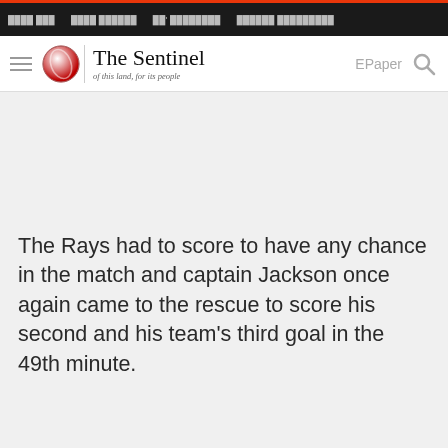The Sentinel - of this land, for its people
The Rays had to score to have any chance in the match and captain Jackson once again came to the rescue to score his second and his team's third goal in the 49th minute.